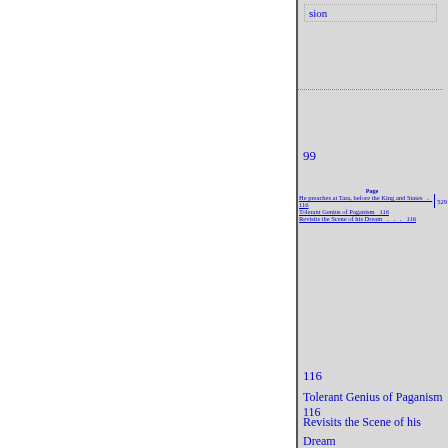sion
99
|  | PAGE |  |
| --- | --- | --- |
| He preaches at Tara, before the King and States | 116 | 529 |
| Tolerant Genius of Paganism | 116 |  |
| Revisits the Scene of his Dream | 116 |  |
116
Tolerant Genius of Paganism 116
Revisits the Scene of his Dream
116
Converts two Princesses 116
Destroys the Idol of “The field of Slaughter”
116
His successful Career
117